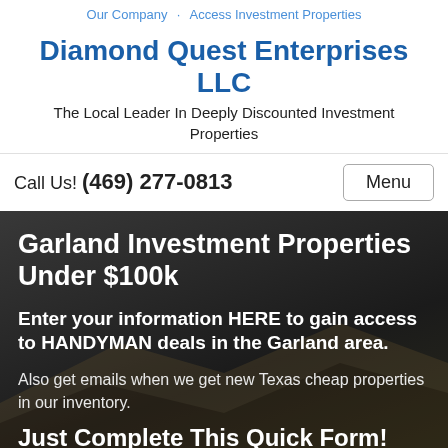Our Company  Access Investment Properties
Diamond Quest Enterprises LLC
The Local Leader In Deeply Discounted Investment Properties
Call Us! (469) 277-0813
Garland Investment Properties Under $100k
Enter your information HERE to gain access to HANDYMAN deals in the Garland area.
Also get emails when we get new Texas cheap properties in our inventory.
Just Complete This Quick Form!